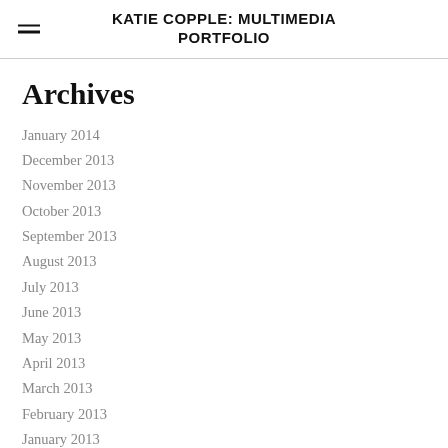KATIE COPPLE: MULTIMEDIA PORTFOLIO
Archives
January 2014
December 2013
November 2013
October 2013
September 2013
August 2013
July 2013
June 2013
May 2013
April 2013
March 2013
February 2013
January 2013
December 2012